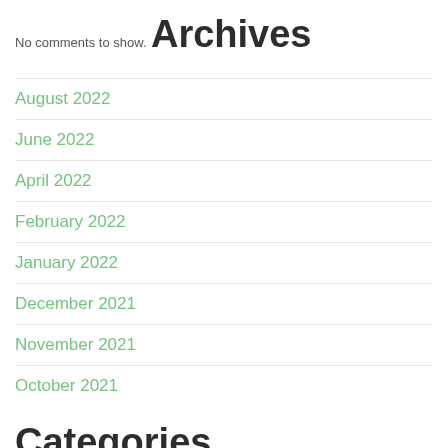No comments to show.
Archives
August 2022
June 2022
April 2022
February 2022
January 2022
December 2021
November 2021
October 2021
Categories